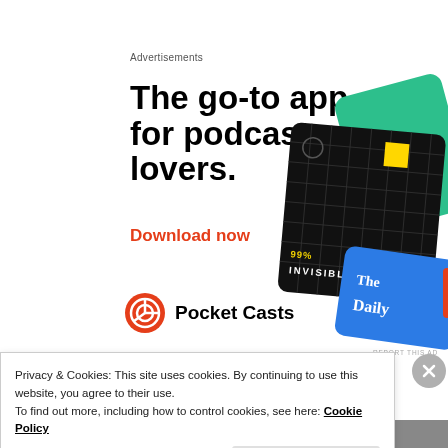Advertisements
[Figure (advertisement): Pocket Casts app advertisement showing podcast app cards (99% Invisible, The Daily, and others) with headline 'The go-to app for podcast lovers.' and red 'Download now' call-to-action, with Pocket Casts logo]
Privacy & Cookies: This site uses cookies. By continuing to use this website, you agree to their use.
To find out more, including how to control cookies, see here: Cookie Policy
Close and accept